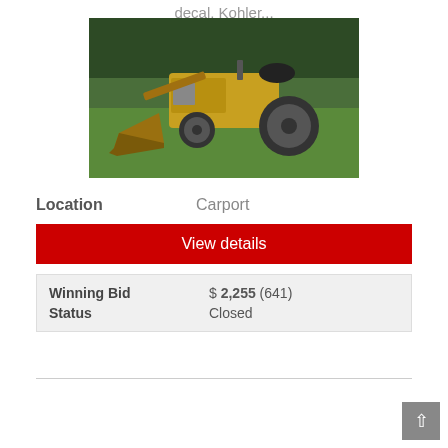decal, Kohler...
[Figure (photo): Yellow garden tractor with front loader bucket attachment, parked on green grass in front of evergreen bushes.]
Location    Carport
View details
| Winning Bid | $ 2,255 (641) |
| Status | Closed |